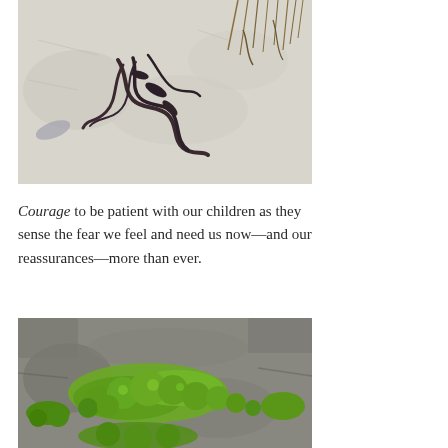[Figure (photo): Close-up photo of dark dried seaweed or plant material on a pale sandy or icy surface with some dry grass or stems visible in the upper right corner.]
Courage to be patient with our children as they sense the fear we feel and need us now—and our reassurances—more than ever.
[Figure (photo): Close-up photo of bright green moss growing in patches on a grey rocky stone surface.]